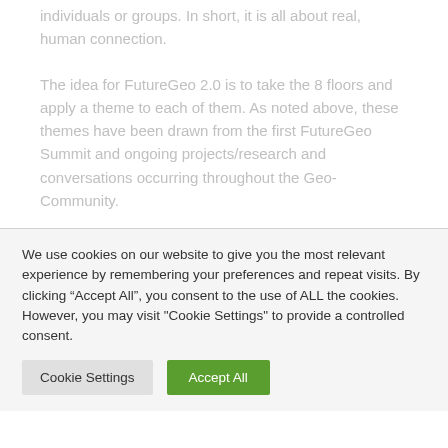individuals or groups. In short, it is all about real, human connection.
The idea for FutureGeo 2.0 is to take the 8 floors and apply a theme to each of them. As noted above, these themes have been drawn from the first FutureGeo Summit and ongoing projects/research and conversations occurring throughout the Geo-Community.
We use cookies on our website to give you the most relevant experience by remembering your preferences and repeat visits. By clicking “Accept All”, you consent to the use of ALL the cookies. However, you may visit "Cookie Settings" to provide a controlled consent.